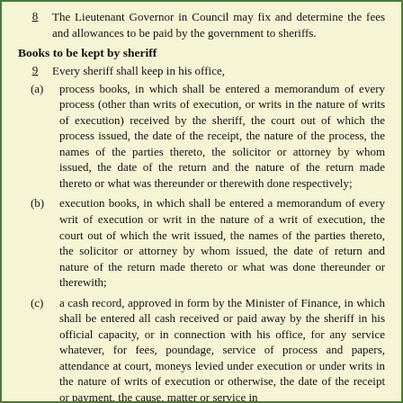8   The Lieutenant Governor in Council may fix and determine the fees and allowances to be paid by the government to sheriffs.
Books to be kept by sheriff
9   Every sheriff shall keep in his office,
(a) process books, in which shall be entered a memorandum of every process (other than writs of execution, or writs in the nature of writs of execution) received by the sheriff, the court out of which the process issued, the date of the receipt, the nature of the process, the names of the parties thereto, the solicitor or attorney by whom issued, the date of the return and the nature of the return made thereto or what was thereunder or therewith done respectively;
(b) execution books, in which shall be entered a memorandum of every writ of execution or writ in the nature of a writ of execution, the court out of which the writ issued, the names of the parties thereto, the solicitor or attorney by whom issued, the date of return and nature of the return made thereto or what was done thereunder or therewith;
(c) a cash record, approved in form by the Minister of Finance, in which shall be entered all cash received or paid away by the sheriff in his official capacity, or in connection with his office, for any service whatever, for fees, poundage, service of process and papers, attendance at court, moneys levied under execution or under writs in the nature of writs of execution or otherwise, the date of the receipt or payment, the cause, matter or service in